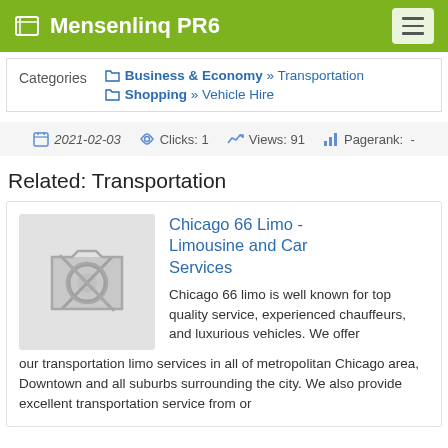Mensenlinq PR6
Categories  Business & Economy » Transportation  Shopping » Vehicle Hire
2021-02-03  Clicks: 1  Views: 91  Pagerank: -
Related: Transportation
Chicago 66 Limo - Limousine and Car Services
Chicago 66 limo is well known for top quality service, experienced chauffeurs, and luxurious vehicles. We offer our transportation limo services in all of metropolitan Chicago area, Downtown and all suburbs surrounding the city. We also provide excellent transportation service from or